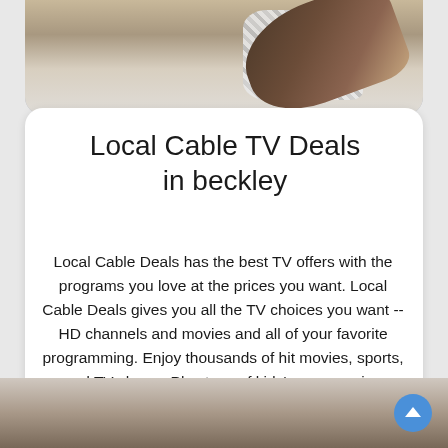[Figure (photo): Person in plaid shirt holding a TV remote, lying on a couch, cropped at top of page]
Local Cable TV Deals in beckley
Local Cable Deals has the best TV offers with the programs you love at the prices you want. Local Cable Deals gives you all the TV choices you want -- HD channels and movies and all of your favorite programming. Enjoy thousands of hit movies, sports, and TV shows. Plus tons of kids' programming included with On Demand service. With plenty of storage, never worry about available space on your DVR. Plus, you can schedule recordings online or on your mobile device. Look no further than Local Cable Deals for the best TV services anywhere.
[Figure (photo): Partial photo visible at bottom of page, appears to show a person]